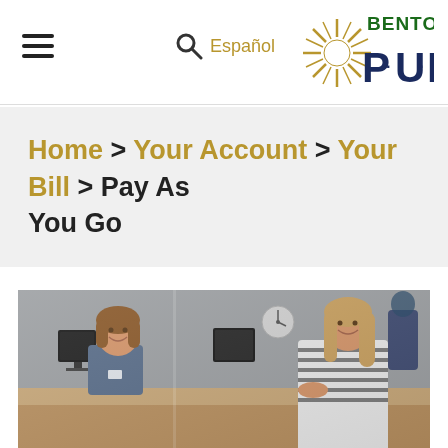☰  🔍  Español  [Benton PUD logo]
Home > Your Account > Your Bill > Pay As You Go
[Figure (photo): Two women at a service counter, one staff member smiling at a customer across the counter in a utility office setting.]